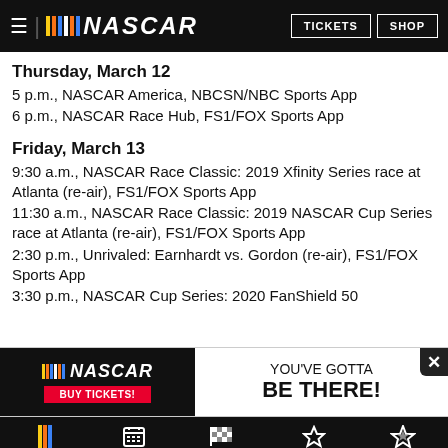NASCAR — TICKETS | SHOP
Thursday, March 12
5 p.m., NASCAR America, NBCSN/NBC Sports App
6 p.m., NASCAR Race Hub, FS1/FOX Sports App
Friday, March 13
9:30 a.m., NASCAR Race Classic: 2019 Xfinity Series race at Atlanta (re-air), FS1/FOX Sports App
11:30 a.m., NASCAR Race Classic: 2019 NASCAR Cup Series race at Atlanta (re-air), FS1/FOX Sports App
2:30 p.m., Unrivaled: Earnhardt vs. Gordon (re-air), FS1/FOX Sports App
3:30 p.m., NASCAR Cup Series: 2020 FanShield 50
[Figure (screenshot): NASCAR advertisement banner: NASCAR logo with BUY TICKETS button on left, YOU'VE GOTTA BE THERE! text on right]
Home | Schedule | Race Center | Standings | Fantasy